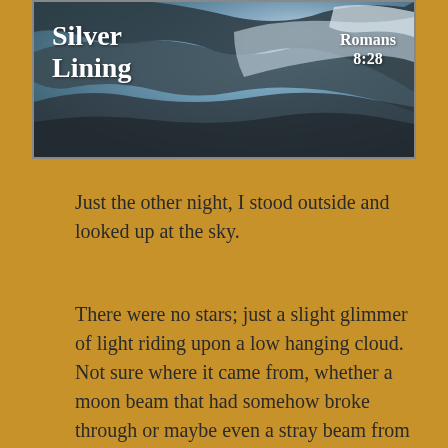[Figure (photo): Cloud and sky photo with text overlay showing 'Silver Lining' title and 'Romans 8:28' reference]
Just the other night, I stood outside and looked up at the sky.
There were no stars; just a slight glimmer of light riding upon a low hanging cloud. Not sure where it came from, whether a moon beam that had somehow broke through or maybe even a stray beam from a nearby street light. Regardless, it was pretty; made me think of the metaphorical cloud with a silver lining. You know, I think every cloud really does have a silver lining. Why? Well, because I think it's just